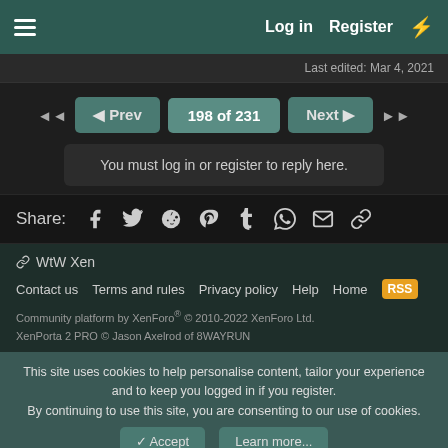Log in   Register
Last edited: Mar 4, 2021
◄◄  ◄ Prev  198 of 231  Next ►  ►►
You must log in or register to reply here.
Share: [Facebook] [Twitter] [Reddit] [Pinterest] [Tumblr] [WhatsApp] [Email] [Link]
WtW Xen
Contact us   Terms and rules   Privacy policy   Help   Home   [RSS]
Community platform by XenForo® © 2010-2022 XenForo Ltd.
XenPorta 2 PRO © Jason Axelrod of 8WAYRUN
This site uses cookies to help personalise content, tailor your experience and to keep you logged in if you register.
By continuing to use this site, you are consenting to our use of cookies.
✓ Accept   Learn more...